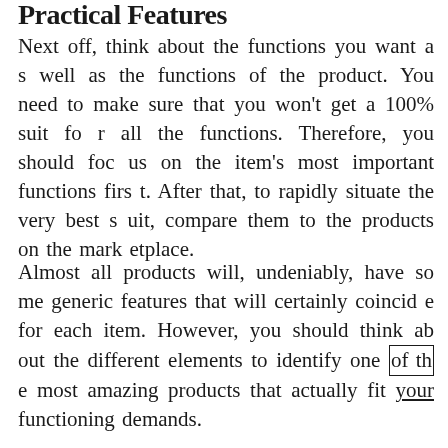Practical Features
Next off, think about the functions you want as well as the functions of the product. You need to make sure that you won't get a 100% suit for all the functions. Therefore, you should focus on the item's most important functions first. After that, to rapidly situate the very best suit, compare them to the products on the marketplace.
Almost all products will, undeniably, have some generic features that will certainly coincide for each item. However, you should think about the different elements to identify one of the most amazing products that actually fit your functioning demands.